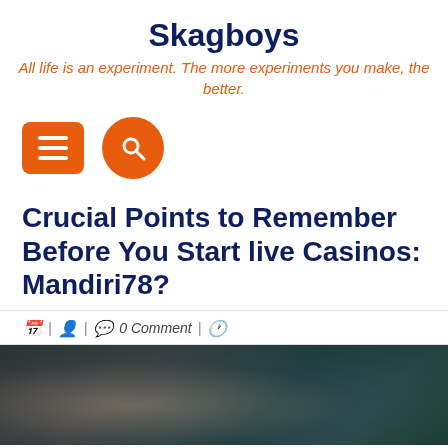Skagboys
All life is an experiment. The more experiments you make, the better.
[Figure (other): Navigation icons: orange rectangle menu button with three horizontal lines, and orange circle search button with magnifying glass icon]
Crucial Points to Remember Before You Start live Casinos: Mandiri78?
0 Comment
[Figure (photo): Blurred dark photo showing a person's face in low light with teal/green bokeh in background]